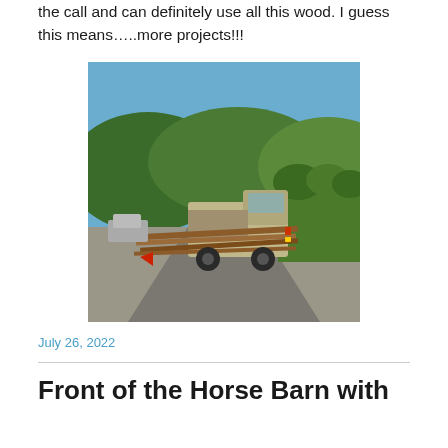the call and can definitely use all this wood. I guess this means…..more projects!!!
[Figure (photo): A pickup truck loaded with long wooden planks extending past the tailgate, with a red flag hanging from the end. The truck is on a road surrounded by trees and hills under a clear blue sky.]
July 26, 2022
Front of the Horse Barn with